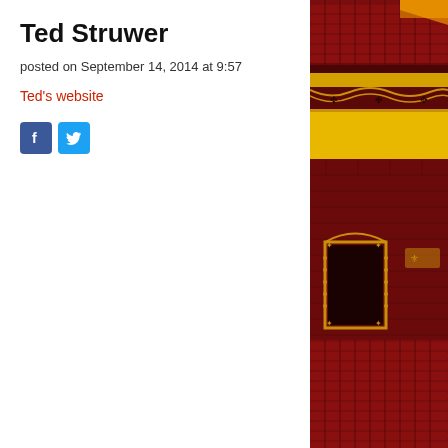Ted Struwer
posted on September 14, 2014 at 9:57
Ted's website
[Figure (illustration): Illustrated image of a grand theater interior with dark red/crimson seats, ornate yellow and dark red decorative trim along the balcony, a yellow fascia band, and a door framed with gold decorations on a dark red brick wall.]